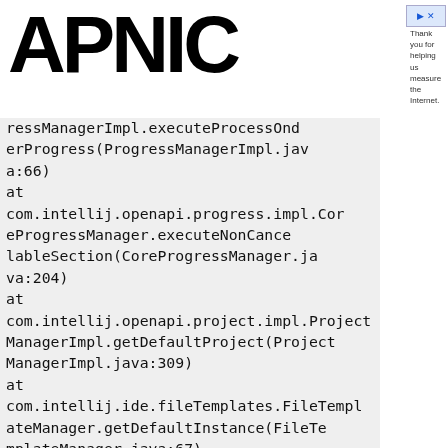[Figure (logo): APNIC logo in large bold black text]
Thank you for helping us measure the Internet.
ressManagerImpl.executeProcessOnderProgress(ProgressManagerImpl.java:66)
at com.intellij.openapi.progress.impl.CoreProgressManager.executeNonCancelableSection(CoreProgressManager.java:204)
at com.intellij.openapi.project.impl.ProjectManagerImpl.getDefaultProject(ProjectManagerImpl.java:309)
at com.intellij.ide.fileTemplates.FileTemplateManager.getDefaultInstance(FileTemplateManager.java:67)
at com.android.tools.idea.startup.AndroidStudioInitializer.setUpNewProjectActi